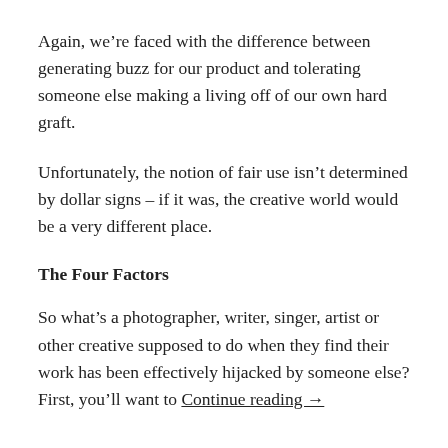Again, we're faced with the difference between generating buzz for our product and tolerating someone else making a living off of our own hard graft.
Unfortunately, the notion of fair use isn't determined by dollar signs – if it was, the creative world would be a very different place.
The Four Factors
So what's a photographer, writer, singer, artist or other creative supposed to do when they find their work has been effectively hijacked by someone else? First, you'll want to Continue reading →